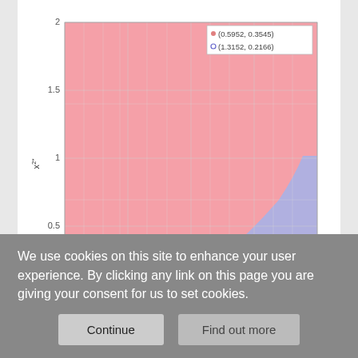[Figure (other): Basin of Attraction plot showing two colored regions (pink/red and blue/purple) separated by a curved boundary. X-axis labeled x1 from 0 to 2, Y-axis labeled x2^* from 0 to 2. Legend shows two points: (0.5952, 0.3545) marked with dot, (1.3152, 0.2166) marked with circle.]
(c) Basin of Attraction
Download figure
Open in new tab
Figure 2:
We use cookies on this site to enhance your user experience. By clicking any link on this page you are giving your consent for us to set cookies.
Continue
Find out more